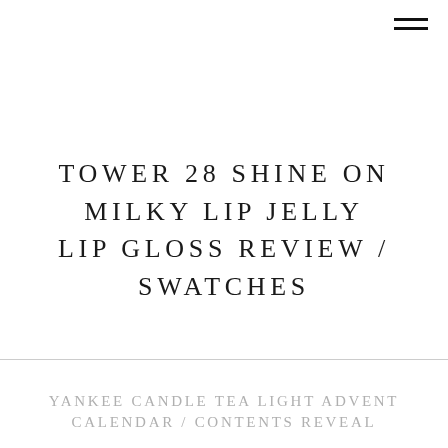[Figure (other): Hamburger menu icon — three horizontal black bars in top-right corner]
TOWER 28 SHINE ON MILKY LIP JELLY LIP GLOSS REVIEW / SWATCHES
YANKEE CANDLE TEA LIGHT ADVENT CALENDAR / CONTENTS REVEAL